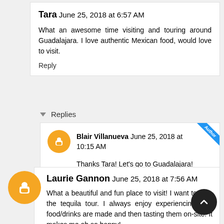Tara June 25, 2018 at 6:57 AM

What an awesome time visiting and touring around Guadalajara. I love authentic Mexican food, would love to visit.

Reply
▾ Replies
Blair Villanueva June 25, 2018 at 10:15 AM

Thanks Tara! Let's go to Guadalajara!
Laurie Gannon June 25, 2018 at 7:56 AM

What a beautiful and fun place to visit! I want to take the tequila tour. I always enjoy experiencing how food/drinks are made and then tasting them on-site. It makes me oh so happy!

Reply